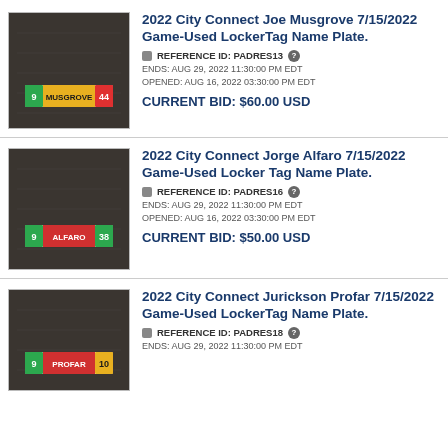[Figure (photo): Dark fabric background with a locker tag name plate showing number 9, MUSGROVE, and 44 in colored segments]
2022 City Connect Joe Musgrove 7/15/2022 Game-Used LockerTag Name Plate.
REFERENCE ID: PADRES13
ENDS: AUG 29, 2022 11:30:00 PM EDT
OPENED: AUG 16, 2022 03:30:00 PM EDT
CURRENT BID: $60.00 USD
[Figure (photo): Dark fabric background with a locker tag name plate showing number 9, ALFARO, and 38 in colored segments]
2022 City Connect Jorge Alfaro 7/15/2022 Game-Used Locker Tag Name Plate.
REFERENCE ID: PADRES16
ENDS: AUG 29, 2022 11:30:00 PM EDT
OPENED: AUG 16, 2022 03:30:00 PM EDT
CURRENT BID: $50.00 USD
[Figure (photo): Dark fabric background with a locker tag name plate showing number 9, PROFAR, and 10 in colored segments]
2022 City Connect Jurickson Profar 7/15/2022 Game-Used LockerTag Name Plate.
REFERENCE ID: PADRES18
ENDS: AUG 29, 2022 11:30:00 PM EDT